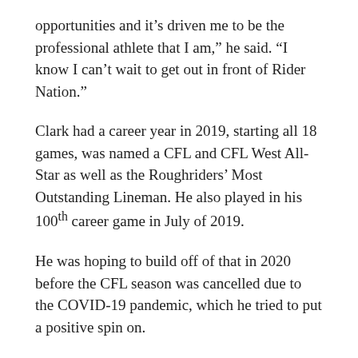opportunities and it’s driven me to be the professional athlete that I am,” he said. “I know I can’t wait to get out in front of Rider Nation.”
Clark had a career year in 2019, starting all 18 games, was named a CFL and CFL West All-Star as well as the Roughriders’ Most Outstanding Lineman. He also played in his 100th career game in July of 2019.
He was hoping to build off of that in 2020 before the CFL season was cancelled due to the COVID-19 pandemic, which he tried to put a positive spin on.
Despite the uncertainty of the football season and the world, Clark said it was nice to slow down and just be